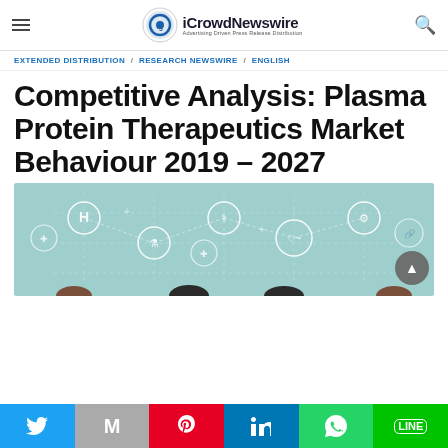iCrowdNewswire – Advertising Driven Press Release Distribution
EXTENDED DISTRIBUTION / RESEARCH NEWSWIRE / ENGLISH
Competitive Analysis: Plasma Protein Therapeutics Market Behaviour 2019 – 2027
[Figure (illustration): Healthcare/medical network infographic with icons showing hospital (H), stethoscope, heart rate monitor, mortar and pestle, medical bag, and other medical symbols connected by dotted lines on a teal/blue background, with doctors/people silhouettes at the bottom.]
Social share bar: Twitter, Gmail, Pinterest, LinkedIn, WhatsApp, LINE